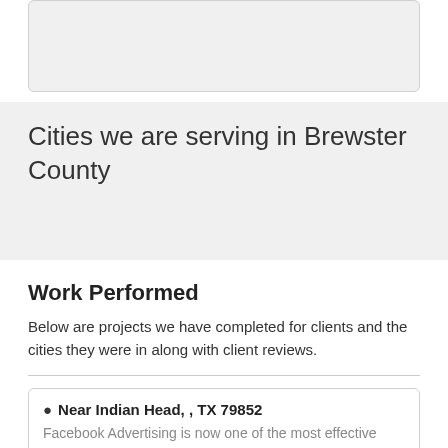[Figure (map): Gray map placeholder area with rounded border]
Cities we are serving in Brewster County
Work Performed
Below are projects we have completed for clients and the cities they were in along with client reviews.
Near Indian Head, , TX 79852
Facebook Advertising is now one of the most effective